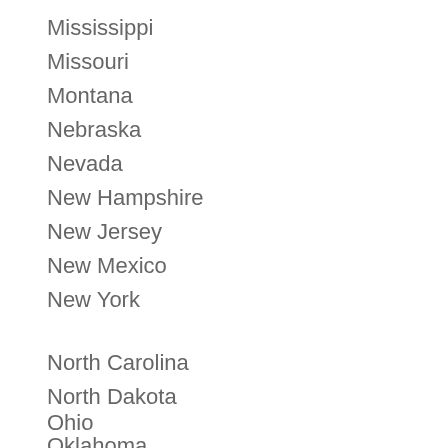Mississippi
Missouri
Montana
Nebraska
Nevada
New Hampshire
New Jersey
New Mexico
New York
North Carolina
North Dakota
Ohio
Oklahoma